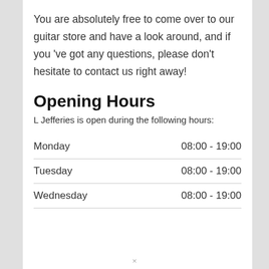You are absolutely free to come over to our guitar store and have a look around, and if you 've got any questions, please don't hesitate to contact us right away!
Opening Hours
L Jefferies is open during the following hours:
| Day | Hours |
| --- | --- |
| Monday | 08:00 - 19:00 |
| Tuesday | 08:00 - 19:00 |
| Wednesday | 08:00 - 19:00 |